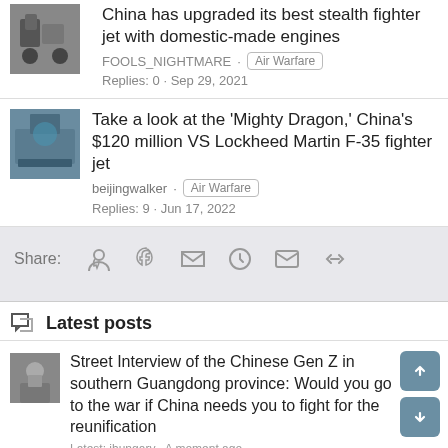China has upgraded its best stealth fighter jet with domestic-made engines
FOOLS_NIGHTMARE · Air Warfare
Replies: 0 · Sep 29, 2021
Take a look at the 'Mighty Dragon,' China's $120 million VS Lockheed Martin F-35 fighter jet
beijingwalker · Air Warfare
Replies: 9 · Jun 17, 2022
Share:
Latest posts
Street Interview of the Chinese Gen Z in southern Guangdong province: Would you go to the war if China needs you to fight for the reunification
Latest: jhungary · A moment ago
China & Far East